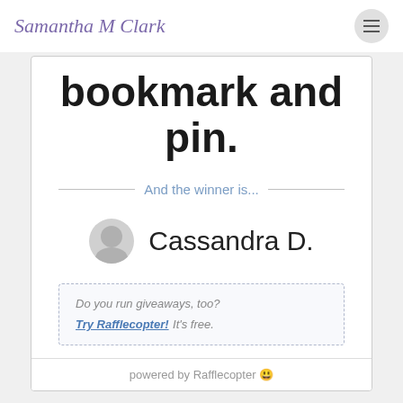Samantha M Clark
bookmark and pin.
And the winner is...
Cassandra D.
Do you run giveaways, too? Try Rafflecopter! It's free.
powered by Rafflecopter